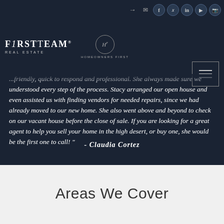FirstTeam Real Estate — Homeowners First
...friendly, quick to respond and professional. She always made sure we understood every step of the process. Stacy arranged our open house and even assisted us with finding vendors for needed repairs, since we had already moved to our new home. She also went above and beyond to check on our vacant house before the close of sale. If you are looking for a great agent to help you sell your home in the high desert, or buy one, she would be the first one to call! "
- Claudia Cortez
Areas We Cover